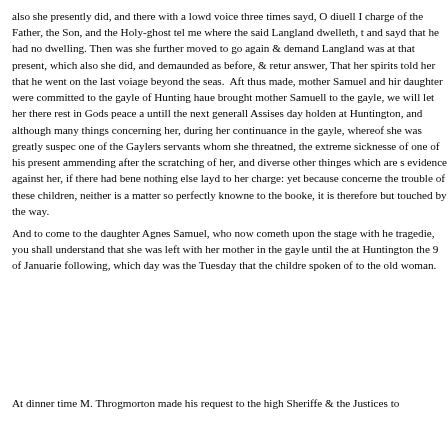also she presently did, and there with a lowd voice three times sayd, O diuell I charge of the Father, the Son, and the Holy-ghost tel me where the said Langland dwelleth, t and sayd that he had no dwelling. Then was she further moved to go again & demand Langland was at that present, which also she did, and demaunded as before, & retur answer, That her spirits told her that he went on the last voiage beyond the seas. Aft thus made, mother Samuel and hir daughter were committed to the gayle of Hunting haue brought mother Samuell to the gayle, we will let her there rest in Gods peace a untill the next generall Assises day holden at Huntington, and although many things concerning her, during her continuance in the gayle, whereof she was greatly suspec one of the Gaylers servants whom she threatned, the extreme sicknesse of one of his present ammending after the scratching of her, and diverse other thinges which are s evidence against her, if there had bene nothing else layd to her charge: yet because concerne the trouble of these children, neither is a matter so perfectly knowne to the booke, it is therefore but touched by the way.
And to come to the daughter Agnes Samuel, who now cometh upon the stage with he tragedie, you shall understand that she was left with her mother in the gayle until the at Huntington the 9 of Januarie following, which day was the Tuesday that the childre spoken of to the old woman.
At dinner time M. Throgmorton made his request to the high Sheriffe & the Justices to